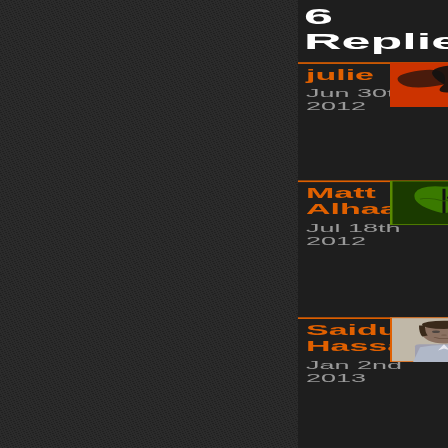6 Replies
julie
Jun 30th 2012
Matt Alhaarth
Jul 18th 2012
Saidul Hassan
Jan 2nd 2013